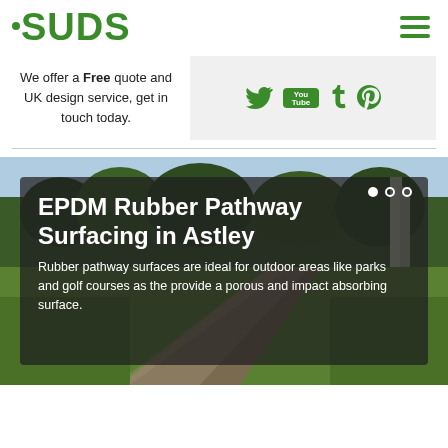SUDS
We offer a Free quote and UK design service, get in touch today.
[Figure (other): Social media icons: Twitter, YouTube, Tumblr, Pinterest on grey background]
[Figure (photo): Outdoor rubber pathway through green grass area with trees in background]
EPDM Rubber Pathway Surfacing in Astley
Rubber pathway surfaces are ideal for outdoor areas like parks and golf courses as the provide a porous and impact absorbing surface.